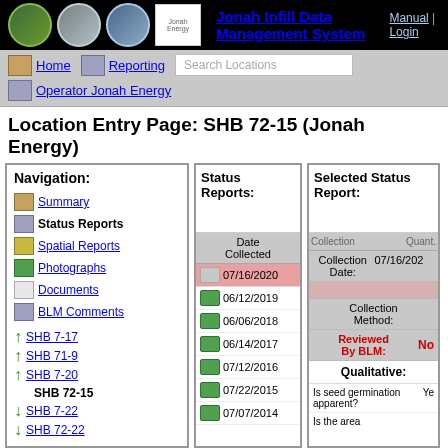Jonah Infill Data Management System | Manual | Login
Home | Reporting | Search Locations | Operator Jonah Energy
Location Entry Page: SHB 72-15 (Jonah Energy)
Navigation:
Summary
Status Reports
Spatial Reports
Photographs
Documents
BLM Comments
↑ SHB 7-17
↑ SHB 71-9
↑ SHB 7-20
SHB 72-15
↓ SHB 7-22
↓ SHB 72-22
| Status Reports: | Date Collected |
| --- | --- |
|  | 07/16/2020 |
| (icon) | 06/12/2019 |
| (icon) | 06/06/2018 |
| (icon) | 06/14/2017 |
| (icon) | 07/12/2016 |
| (icon) | 07/22/2015 |
| (icon) | 07/07/2014 |
| Selected Status Report: | Quant. |
| --- | --- |
| Collection Date: | 07/16/2020 |
| Collection Method: |  |
| Reviewed By BLM: | No |
| Qualitative: |  |
| Is seed germination apparent? | Yes |
| Is the area |  |